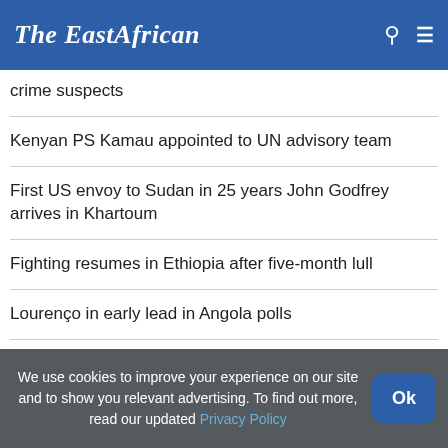The EastAfrican
crime suspects
Kenyan PS Kamau appointed to UN advisory team
First US envoy to Sudan in 25 years John Godfrey arrives in Khartoum
Fighting resumes in Ethiopia after five-month lull
Lourenço in early lead in Angola polls
We use cookies to improve your experience on our site and to show you relevant advertising. To find out more, read our updated Privacy Policy